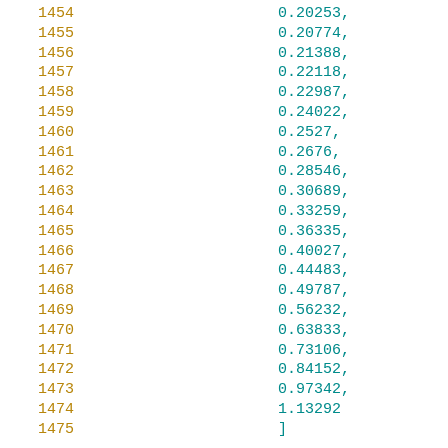1454    0.20253,
1455    0.20774,
1456    0.21388,
1457    0.22118,
1458    0.22987,
1459    0.24022,
1460    0.2527,
1461    0.2676,
1462    0.28546,
1463    0.30689,
1464    0.33259,
1465    0.36335,
1466    0.40027,
1467    0.44483,
1468    0.49787,
1469    0.56232,
1470    0.63833,
1471    0.73106,
1472    0.84152,
1473    0.97342,
1474    1.13292
1475    ]